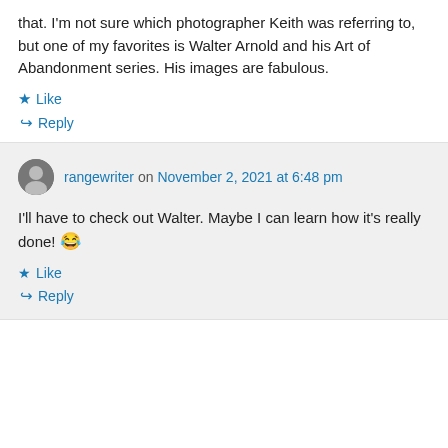that. I'm not sure which photographer Keith was referring to, but one of my favorites is Walter Arnold and his Art of Abandonment series. His images are fabulous.
★ Like
↪ Reply
rangewriter on November 2, 2021 at 6:48 pm
I'll have to check out Walter. Maybe I can learn how it's really done! 😂
★ Like
↪ Reply